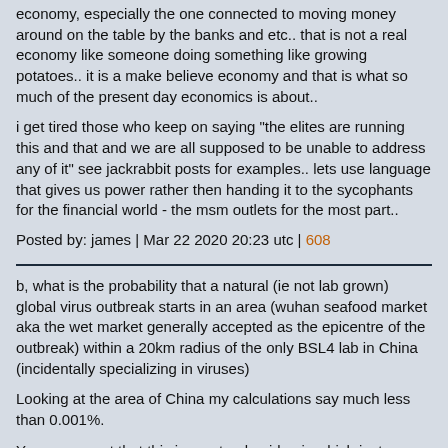economy, especially the one connected to moving money around on the table by the banks and etc.. that is not a real economy like someone doing something like growing potatoes.. it is a make believe economy and that is what so much of the present day economics is about..
i get tired those who keep on saying "the elites are running this and that and we are all supposed to be unable to address any of it" see jackrabbit posts for examples.. lets use language that gives us power rather then handing it to the sycophants for the financial world - the msm outlets for the most part..
Posted by: james | Mar 22 2020 20:23 utc | 608
b, what is the probability that a natural (ie not lab grown) global virus outbreak starts in an area (wuhan seafood market aka the wet market generally accepted as the epicentre of the outbreak) within a 20km radius of the only BSL4 lab in China (incidentally specializing in viruses)
Looking at the area of China my calculations say much less than 0.001%.
Your argument that this is a natural epidemic which just happened to start very close to the only BSL4 lab in China is on very thin ground.